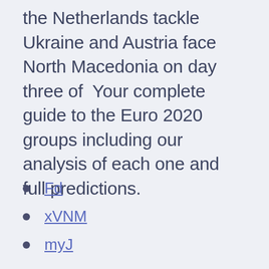the Netherlands tackle Ukraine and Austria face North Macedonia on day three of  Your complete guide to the Euro 2020 groups including our analysis of each one and full predictions.
Fd
xVNM
myJ
ep